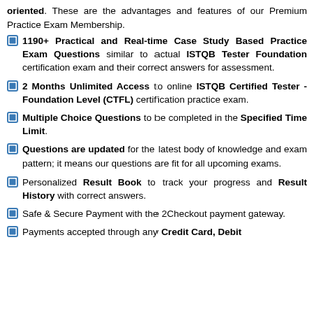oriented. These are the advantages and features of our Premium Practice Exam Membership.
1190+ Practical and Real-time Case Study Based Practice Exam Questions similar to actual ISTQB Tester Foundation certification exam and their correct answers for assessment.
2 Months Unlimited Access to online ISTQB Certified Tester - Foundation Level (CTFL) certification practice exam.
Multiple Choice Questions to be completed in the Specified Time Limit.
Questions are updated for the latest body of knowledge and exam pattern; it means our questions are fit for all upcoming exams.
Personalized Result Book to track your progress and Result History with correct answers.
Safe & Secure Payment with the 2Checkout payment gateway.
Payments accepted through any Credit Card, Debit